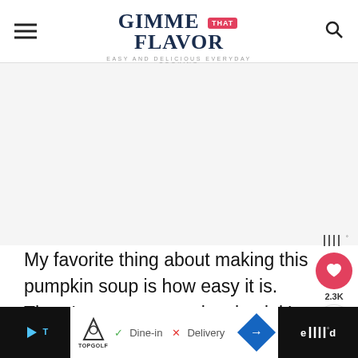GIMME THAT FLAVOR — EASY AND DELICIOUS EVERYDAY COOKING
[Figure (other): Blank advertisement area placeholder]
My favorite thing about making this pumpkin soup is how easy it is. There's no extra step involved, it's just a really straightforward recipe with amazing results.
[Figure (infographic): Social sidebar with heart/save button showing 2.3K and share button]
[Figure (infographic): What's Next widget showing Creamy Carrot Soup with bowl image]
[Figure (infographic): Bottom advertisement bar with Topgolf logo, Dine-in and Delivery options]